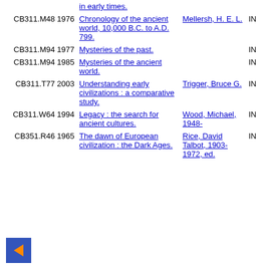| Call Number | Title | Author | Status |
| --- | --- | --- | --- |
|  | in early times. |  |  |
| CB311.M48 1976 | Chronology of the ancient world, 10,000 B.C. to A.D. 799. | Mellersh, H. E. L. | IN |
| CB311.M94 1977 | Mysteries of the past. |  | IN |
| CB311.M94 1985 | Mysteries of the ancient world. |  | IN |
| CB311.T77 2003 | Understanding early civilizations : a comparative study. | Trigger, Bruce G. | IN |
| CB311.W64 1994 | Legacy : the search for ancient cultures. | Wood, Michael, 1948- | IN |
| CB351.R46 1965 | The dawn of European civilization : the Dark Ages. | Rice, David Talbot, 1903-1972, ed. | IN |